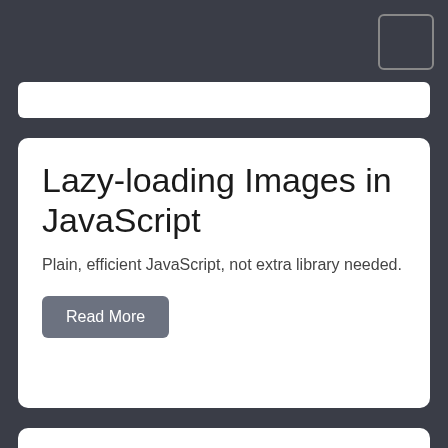[Figure (other): Small square button/icon in top right corner with border]
[Figure (other): White search bar input field]
Lazy-loading Images in JavaScript
Plain, efficient JavaScript, not extra library needed.
Read More
Flask-standalone to WSGI-app